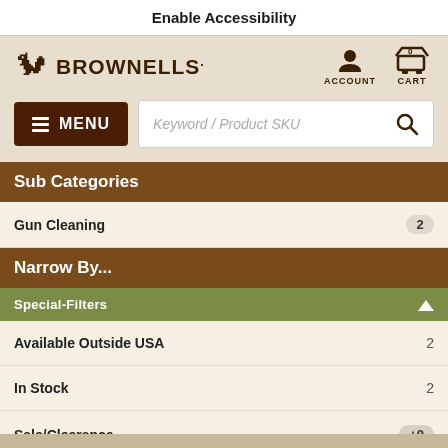Enable Accessibility
[Figure (logo): Brownells logo with squirrel icon and text BROWNELLS]
[Figure (screenshot): Account icon and Cart icon with 0 items in header]
[Figure (screenshot): Menu button and Keyword / Product SKU search bar]
Sub Categories
Gun Cleaning  2
Narrow By...
Special-Filters
Available Outside USA  2
In Stock  2
Sale/Clearance  +0